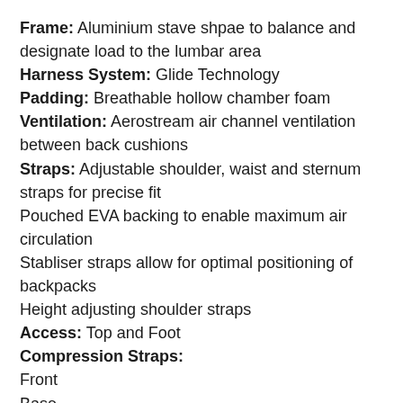Frame: Aluminium stave shpae to balance and designate load to the lumbar area
Harness System: Glide Technology
Padding: Breathable hollow chamber foam
Ventilation: Aerostream air channel ventilation between back cushions
Straps: Adjustable shoulder, waist and sternum straps for precise fit
Pouched EVA backing to enable maximum air circulation
Stabliser straps allow for optimal positioning of backpacks
Height adjusting shoulder straps
Access: Top and Foot
Compression Straps:
Front
Base
Sides x 2
Pockets:
Front